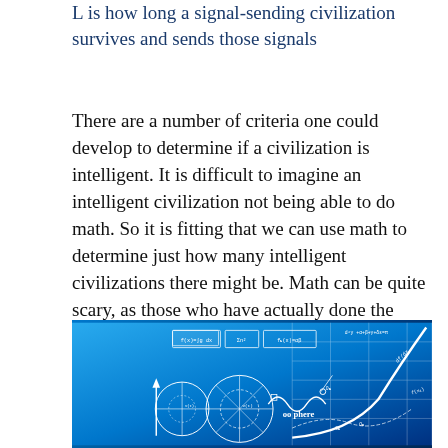L is how long a signal-sending civilization survives and sends those signals
There are a number of criteria one could develop to determine if a civilization is intelligent. It is difficult to imagine an intelligent civilization not being able to do math. So it is fitting that we can use math to determine just how many intelligent civilizations there might be. Math can be quite scary, as those who have actually done the math for COVID-19 have discovered. But math can also give us hope. In either case, it makes us more aware, and that's certainly a start.
[Figure (illustration): Blue background illustration with white mathematical formulas, diagrams including circles, curves, graphs with exponential growth curve, equations and text reading 'oo sphere']